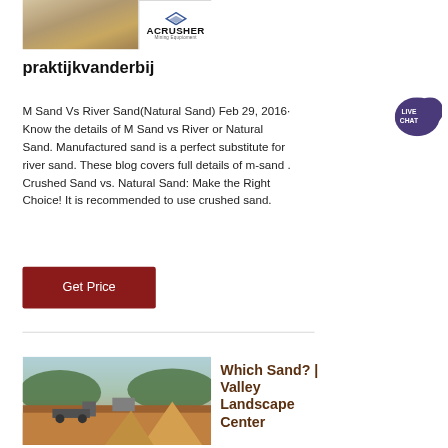[Figure (logo): ACrusher Mining Equipment logo with sandy/quarry background image on the left and white logo panel on the right]
praktijkvanderbij
M Sand Vs River Sand(Natural Sand) Feb 29, 2016· Know the details of M Sand vs River or Natural Sand. Manufactured sand is a perfect substitute for river sand. These blog covers full details of m-sand . Crushed Sand vs. Natural Sand: Make the Right Choice! It is recommended to use crushed sand.
[Figure (illustration): Dark red / maroon 'Get Price' button]
[Figure (photo): Photo of a mining quarry site with excavation equipment, red/orange soil, trucks, and green hills in background]
Which Sand? | Valley Landscape Center